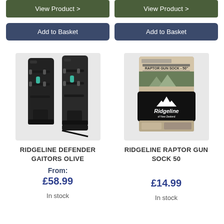View Product >
View Product >
Add to Basket
Add to Basket
[Figure (photo): Black Ridgeline Defender Gaitors Olive — two gaiters shown side by side]
[Figure (photo): Ridgeline Raptor Gun Sock 50 in packaging showing the Ridgeline of New Zealand logo]
RIDGELINE DEFENDER GAITORS OLIVE
RIDGELINE RAPTOR GUN SOCK 50
From:
£58.99
£14.99
In stock
In stock